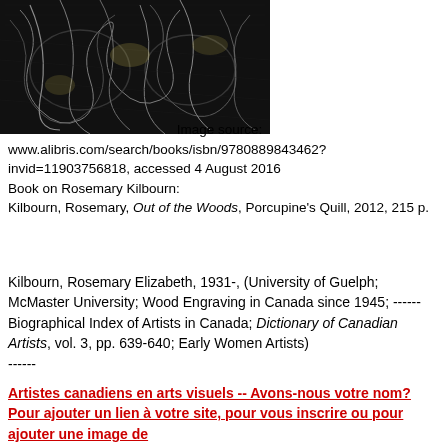[Figure (illustration): Black and white wood engraving artwork showing intricate organic forms, trees or natural elements in dark crosshatched style]
Image source: www.alibris.com/search/books/isbn/9780889843462?invid=11903756818, accessed 4 August 2016
Book on Rosemary Kilbourn:
Kilbourn, Rosemary, Out of the Woods, Porcupine's Quill, 2012, 215 p.
Kilbourn, Rosemary Elizabeth, 1931-, (University of Guelph; McMaster University; Wood Engraving in Canada since 1945; ------Biographical Index of Artists in Canada; Dictionary of Canadian Artists, vol. 3, pp. 639-640; Early Women Artists)
------
Artistes canadiens en arts visuels -- Avons-nous votre nom?
Pour ajouter un lien à votre site,  pour vous inscrire ou pour ajouter une image de
votre art, écrivez-moi à flareau@rogers.com -- c'est gratuit